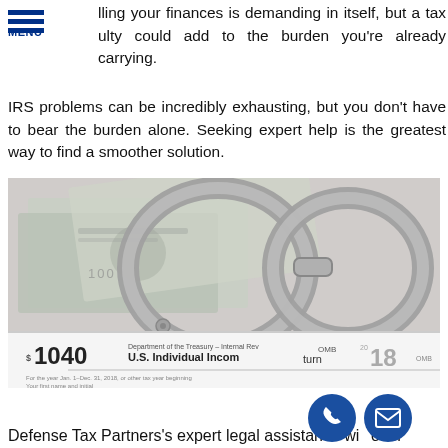MENU
lling your finances is demanding in itself, but a tax ulty could add to the burden you're already carrying. IRS problems can be incredibly exhausting, but you don't have to bear the burden alone. Seeking expert help is the greatest way to find a smoother solution.
[Figure (photo): Photo of handcuffs resting on top of US dollar bills and a 1040 US Individual Income Tax Return form for 2018]
Defense Tax Partners's expert legal assistance will offer